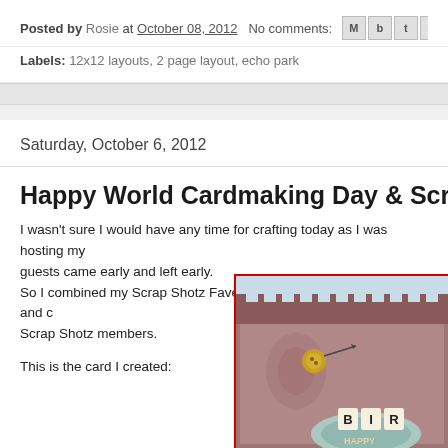Posted by Rosie at October 08, 2012   No comments:
Labels: 12x12 layouts, 2 page layout, echo park
Saturday, October 6, 2012
Happy World Cardmaking Day & Scrap S
I wasn't sure I would have any time for crafting today as I was hosting my guests came early and left early.
So I combined my Scrap Shotz Fave of the Week*Lift* with WCMD and c Scrap Shotz members.
This is the card I created:
[Figure (photo): A handmade birthday card with patterned paper, buttons, and 'BIRTHDAY' text letters visible]